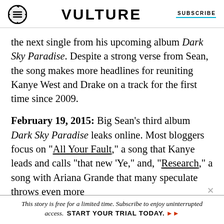VULTURE | SUBSCRIBE
the next single from his upcoming album Dark Sky Paradise. Despite a strong verse from Sean, the song makes more headlines for reuniting Kanye West and Drake on a track for the first time since 2009.
February 19, 2015: Big Sean’s third album Dark Sky Paradise leaks online. Most bloggers focus on “All Your Fault,” a song that Kanye leads and calls “that new ‘Ye,” and, “Research,” a song with Ariana Grande that many speculate throws even more
This story is free for a limited time. Subscribe to enjoy uninterrupted access. START YOUR TRIAL TODAY.